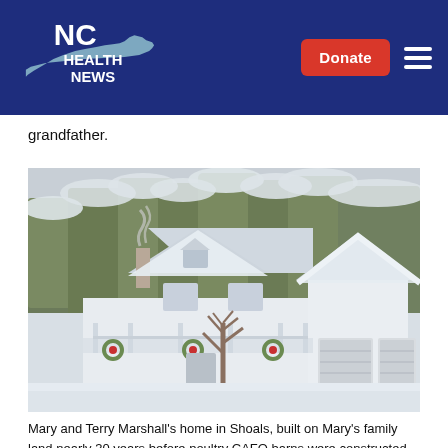NC Health News | Donate
grandfather.
[Figure (photo): A white house covered in snow with a front porch, wreath decorations, two-car garage, and snow-covered trees in the background. Smoke rises from a chimney.]
Mary and Terry Marshall's home in Shoals, built on Mary's family land nearly 30 years before poultry CAFO barns were constructed nearby. Photo courtesy Mary and Terry Marshall